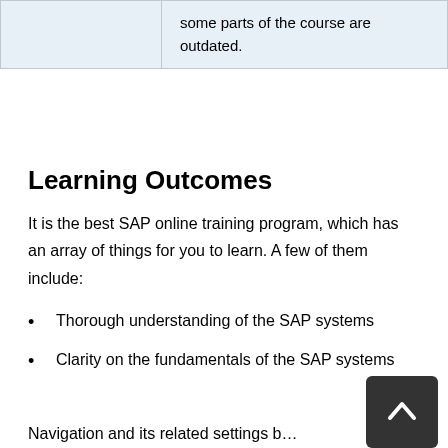|  | some parts of the course are outdated. |
Learning Outcomes
It is the best SAP online training program, which has an array of things for you to learn. A few of them include:
Thorough understanding of the SAP systems
Clarity on the fundamentals of the SAP systems
Navigation and its related settings b…